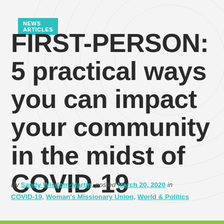NEWS ARTICLES
FIRST-PERSON: 5 practical ways you can impact your community in the midst of COVID-19
By Sandy Wisdom-Martin, posted March 20, 2020 in COVID-19, Woman's Missionary Union, World & Politics